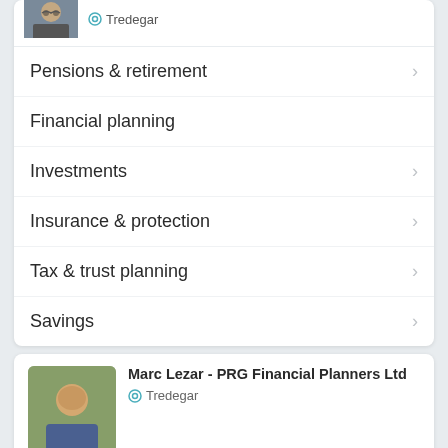[Figure (photo): Partial photo of a person with glasses, location icon and text 'Tredegar']
Pensions & retirement
Financial planning
Investments
Insurance & protection
Tax & trust planning
Savings
[Figure (photo): Photo of Marc Lezar - advisor portrait in outdoor setting]
Marc Lezar - PRG Financial Planners Ltd
Tredegar
I will leave no stone unturned! I will strive to ensure you have peace of mind when it comes to your financial matters!